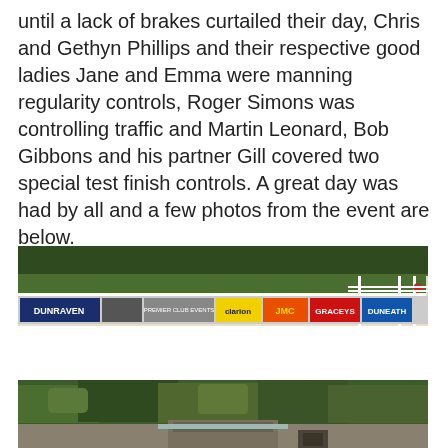until a lack of brakes curtailed their day, Chris and Gethyn Phillips and their respective good ladies Jane and Emma were manning regularity controls, Roger Simons was controlling traffic and Martin Leonard, Bob Gibbons and his partner Gill covered two special test finish controls. A great day was had by all and a few photos from the event are below.
[Figure (photo): Wide panoramic photo of a racecourse showing advertising hoardings/banners along the track including DUNRAVEN, Clarion, JMC, GRACEYS, and DUNEATH logos, with green trees in the background and white fence railings.]
[Figure (photo): Wide panoramic photo showing green trees and foliage with what appears to be a building structure partially visible at the bottom.]